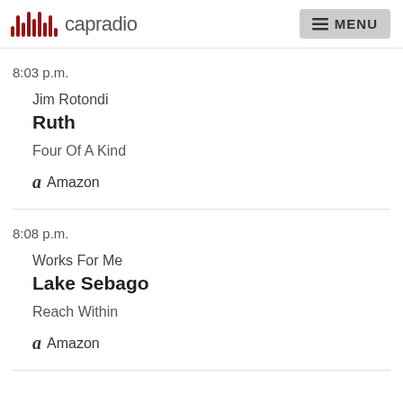capradio  MENU
8:03 p.m.
Jim Rotondi
Ruth
Four Of A Kind
Amazon
8:08 p.m.
Works For Me
Lake Sebago
Reach Within
Amazon